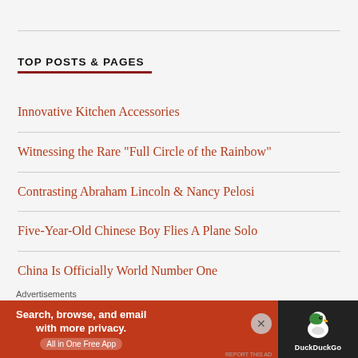TOP POSTS & PAGES
Innovative Kitchen Accessories
Witnessing the Rare "Full Circle of the Rainbow"
Contrasting Abraham Lincoln & Nancy Pelosi
Five-Year-Old Chinese Boy Flies A Plane Solo
China Is Officially World Number One
Advertisements
[Figure (other): DuckDuckGo advertisement banner: orange background with text 'Search, browse, and email with more privacy. All in One Free App' and DuckDuckGo logo on dark background.]